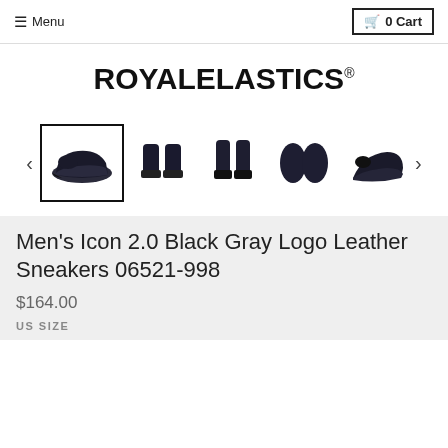≡ Menu    🛒 0 Cart
ROYAL ELASTICS®
[Figure (photo): Product image gallery showing 5 thumbnails of Men's Icon 2.0 Black Gray Logo Leather Sneakers from various angles, with the first (side view) selected and highlighted with a black border. Left and right navigation arrows on either side.]
Men's Icon 2.0 Black Gray Logo Leather Sneakers 06521-998
$164.00
US SIZE